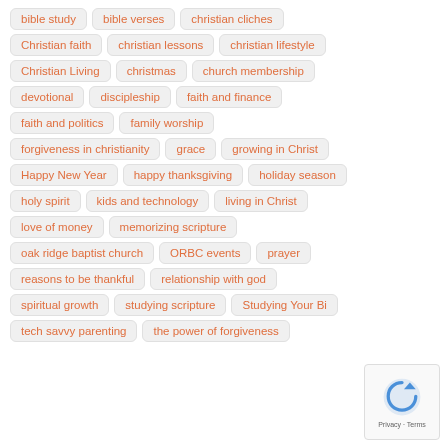bible study
bible verses
christian cliches
Christian faith
christian lessons
christian lifestyle
Christian Living
christmas
church membership
devotional
discipleship
faith and finance
faith and politics
family worship
forgiveness in christianity
grace
growing in Christ
Happy New Year
happy thanksgiving
holiday season
holy spirit
kids and technology
living in Christ
love of money
memorizing scripture
oak ridge baptist church
ORBC events
prayer
reasons to be thankful
relationship with god
spiritual growth
studying scripture
Studying Your Bi...
tech savvy parenting
the power of forgiveness